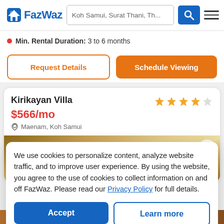FazWaz — Koh Samui, Surat Thani, Th...
Min. Rental Duration: 3 to 6 months
Request Details
Schedule Viewing
Kirikayan Villa
$566/mo
Maenam, Koh Samui
[Figure (photo): Interior photo of Kirikayan Villa showing ceiling lighting]
We use cookies to personalize content, analyze website traffic, and to improve user experience. By using the website, you agree to the use of cookies to collect information on and off FazWaz. Please read our Privacy Policy for full details.
Accept
Learn more